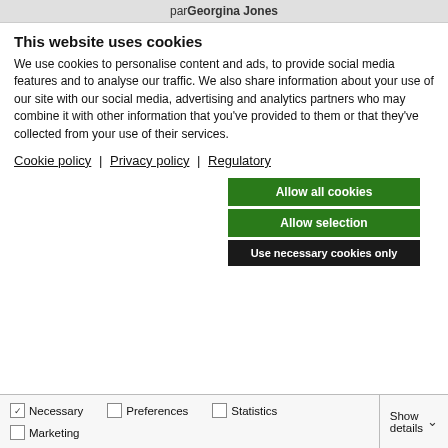par Georgina Jones
This website uses cookies
We use cookies to personalise content and ads, to provide social media features and to analyse our traffic. We also share information about your use of our site with our social media, advertising and analytics partners who may combine it with other information that you've provided to them or that they've collected from your use of their services.
Cookie policy | Privacy policy | Regulatory
Allow all cookies
Allow selection
Use necessary cookies only
Necessary  Preferences  Statistics  Marketing  Show details